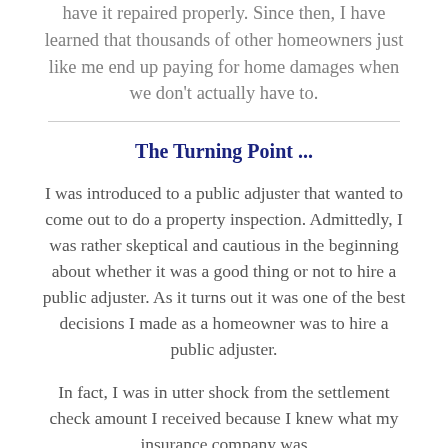have it repaired properly. Since then, I have learned that thousands of other homeowners just like me end up paying for home damages when we don't actually have to.
The Turning Point ...
I was introduced to a public adjuster that wanted to come out to do a property inspection. Admittedly, I was rather skeptical and cautious in the beginning about whether it was a good thing or not to hire a public adjuster. As it turns out it was one of the best decisions I made as a homeowner was to hire a public adjuster.
In fact, I was in utter shock from the settlement check amount I received because I knew what my insurance company was